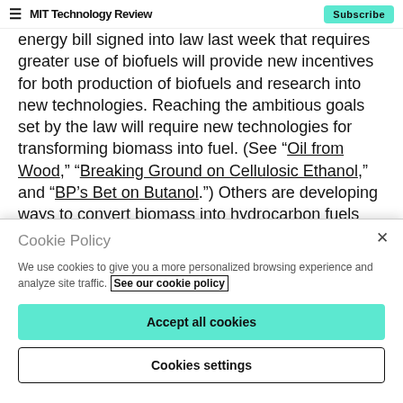MIT Technology Review | Subscribe
energy bill signed into law last week that requires greater use of biofuels will provide new incentives for both production of biofuels and research into new technologies. Reaching the ambitious goals set by the law will require new technologies for transforming biomass into fuel. (See “Oil from Wood,” “Breaking Ground on Cellulosic Ethanol,” and “BP’s Bet on Butanol.”) Others are developing ways to convert biomass into hydrocarbon fuels that could be more practical than ethanol. (See
Cookie Policy
We use cookies to give you a more personalized browsing experience and analyze site traffic. See our cookie policy
Accept all cookies
Cookies settings